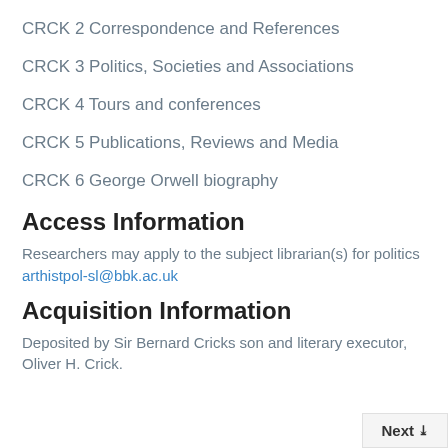CRCK 2 Correspondence and References
CRCK 3 Politics, Societies and Associations
CRCK 4 Tours and conferences
CRCK 5 Publications, Reviews and Media
CRCK 6 George Orwell biography
Access Information
Researchers may apply to the subject librarian(s) for politics arthistpol-sl@bbk.ac.uk
Acquisition Information
Deposited by Sir Bernard Cricks son and literary executor, Oliver H. Crick.